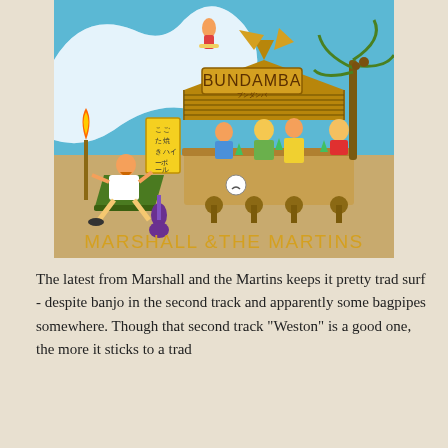[Figure (illustration): Album cover illustration for 'Bundamba' by Marshall & The Martins. Shows a cartoon beach bar scene with a tiki hut labeled 'BUNDAMBA', a palm tree, cartoon characters drinking cocktails at the bar, a person relaxing in a chair with a guitar nearby, a tiki torch, surfing wave in the background, and a Japanese sign. Text at bottom reads 'MARSHALL & THE MARTINS' in yellow.]
The latest from Marshall and the Martins keeps it pretty trad surf - despite banjo in the second track and apparently some bagpipes somewhere. Though that second track "Weston" is a good one, the more it sticks to a trad